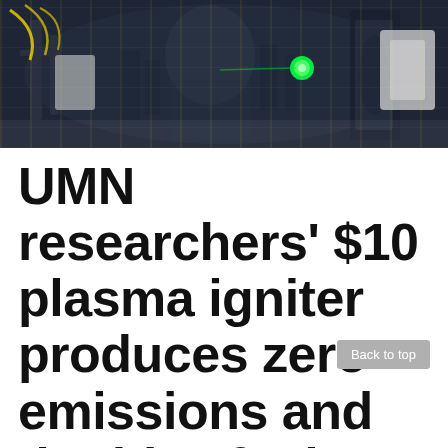[Figure (photo): A researcher working with laser and optical equipment in a laboratory setting. Green laser beam visible. Yellow wiring and white mechanical components visible.]
UMN researchers' $10 plasma igniter produces zero emissions and doubles fuel economy